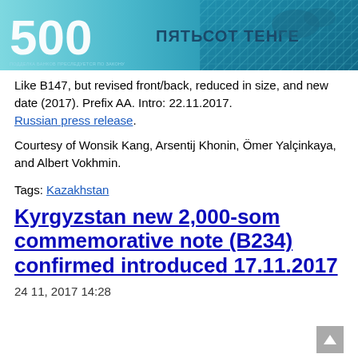[Figure (photo): Banknote image showing Kazakhstan 500 Tenge note with teal/blue coloring, '500' numeral on left, Cyrillic text 'ПЯТЬСОТ ТЕНГЕ' in center, decorative pattern on right]
Like B147, but revised front/back, reduced in size, and new date (2017). Prefix AA. Intro: 22.11.2017.
Russian press release.
Courtesy of Wonsik Kang, Arsentij Khonin, Ömer Yalçinkaya, and Albert Vokhmin.
Tags: Kazakhstan
Kyrgyzstan new 2,000-som commemorative note (B234) confirmed introduced 17.11.2017
24 11, 2017 14:28